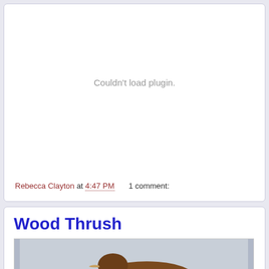Couldn't load plugin.
Rebecca Clayton at 4:47 PM   1 comment:
Wood Thrush
[Figure (photo): Partial photo of a Wood Thrush bird, showing brown plumage, photographed against a light gray background. Only the upper body is visible.]